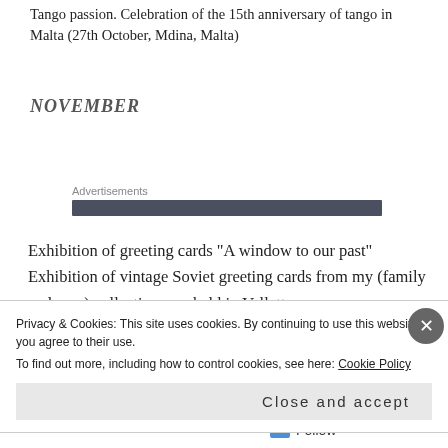Tango passion. Celebration of the 15th anniversary of tango in Malta (27th October, Mdina, Malta)
NOVEMBER
Advertisements
Exhibition of greeting cards “A window to our past” Exhibition of vintage Soviet greeting cards from my (family and own) collection was held in Valletta,
Privacy & Cookies: This site uses cookies. By continuing to use this website, you agree to their use.
To find out more, including how to control cookies, see here: Cookie Policy
Close and accept
Follow